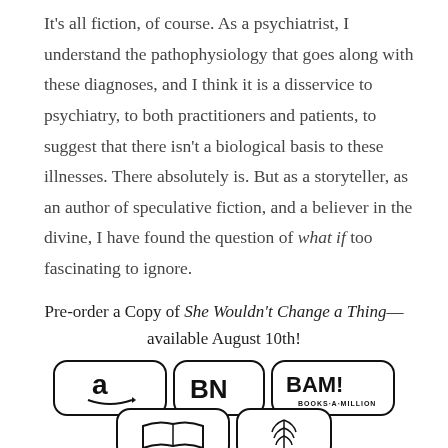It's all fiction, of course. As a psychiatrist, I understand the pathophysiology that goes along with these diagnoses, and I think it is a disservice to psychiatry, to both practitioners and patients, to suggest that there isn't a biological basis to these illnesses. There absolutely is. But as a storyteller, as an author of speculative fiction, and a believer in the divine, I have found the question of what if too fascinating to ignore.
Pre-order a Copy of She Wouldn't Change a Thing— available August 10th!
[Figure (logo): Three retailer logos in rounded rectangle buttons: Amazon (a with arrow), BN (Barnes & Noble), BAM! Books-A-Million]
[Figure (logo): Two retailer logos partially visible: open book icon (IndieBound or similar), and a wheat/feather icon]